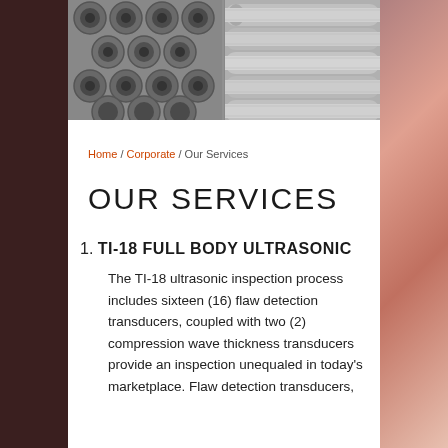[Figure (photo): Close-up photo of metal pipes/tubes. Left side shows circular cross-sections of bundled pipes; right side shows elongated cylindrical pipes stacked side by side.]
Home / Corporate / Our Services
OUR SERVICES
1. TI-18 FULL BODY ULTRASONIC

The TI-18 ultrasonic inspection process includes sixteen (16) flaw detection transducers, coupled with two (2) compression wave thickness transducers provide an inspection unequaled in today's marketplace. Flaw detection transducers,